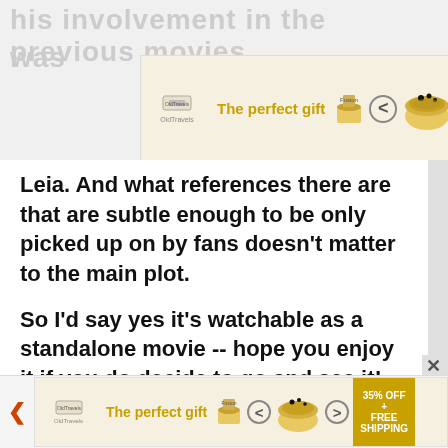[Figure (screenshot): Advertisement banner at top: 'The perfect gift' with product bowl image, navigation arrows, and '35% OFF + FREE SHIPPING' promo badge. Background shows partially visible text 'his involvement in the previous movies was...']
Leia. And what references there are that are subtle enough to be only picked up on by fans doesn't matter to the main plot.

So I'd say yes it's watchable as a standalone movie -- hope you enjoy it if you do decide to go and see it!
13:31 Fri 18th Dec 2015
[Figure (screenshot): Advertisement banner at bottom: 'The perfect gift' with product bowl image, navigation arrows, and '35% OFF + FREE SHIPPING' promo badge. Red X close button on left.]